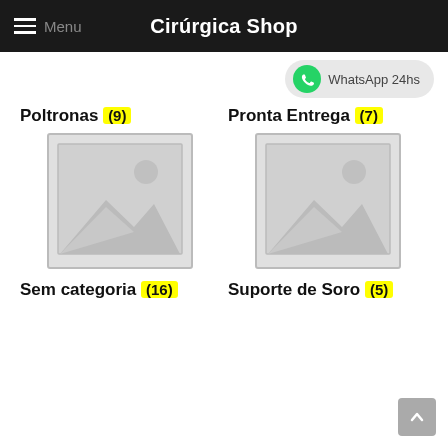Cirúrgica Shop
[Figure (screenshot): WhatsApp 24hs button with green WhatsApp icon]
Poltronas (9)
Pronta Entrega (7)
[Figure (illustration): Placeholder image for Poltronas category - grey image placeholder icon]
[Figure (illustration): Placeholder image for Pronta Entrega category - grey image placeholder icon]
Sem categoria (16)
Suporte de Soro (5)